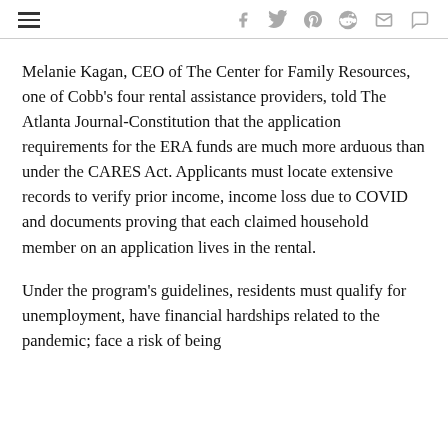navigation bar with hamburger menu and social icons
Melanie Kagan, CEO of The Center for Family Resources, one of Cobb’s four rental assistance providers, told The Atlanta Journal-Constitution that the application requirements for the ERA funds are much more arduous than under the CARES Act. Applicants must locate extensive records to verify prior income, income loss due to COVID and documents proving that each claimed household member on an application lives in the rental.
Under the program’s guidelines, residents must qualify for unemployment, have financial hardships related to the pandemic; face a risk of being